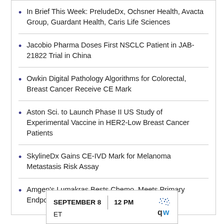In Brief This Week: PreludeDx, Ochsner Health, Avacta Group, Guardant Health, Caris Life Sciences
Jacobio Pharma Doses First NSCLC Patient in JAB-21822 Trial in China
Owkin Digital Pathology Algorithms for Colorectal, Breast Cancer Receive CE Mark
Aston Sci. to Launch Phase II US Study of Experimental Vaccine in HER2-Low Breast Cancer Patients
SkylineDx Gains CE-IVD Mark for Melanoma Metastasis Risk Assay
Amgen's Lumakras Bests Chemo, Meets Primary Endpoint in CodeBreak 200 Trial
[Figure (infographic): Advertisement banner showing SEPTEMBER 8 | 12 PM ET with a logo featuring dots and letters 'qw']